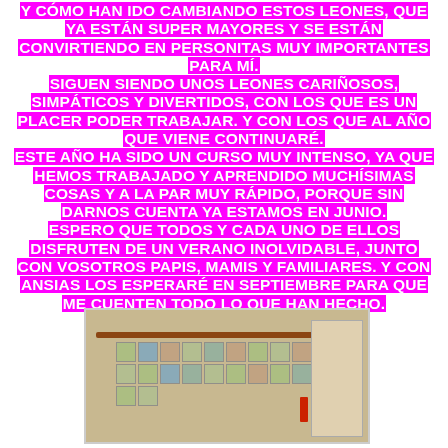Y CÓMO HAN IDO CAMBIANDO ESTOS LEONES, QUE YA ESTÁN SUPER MAYORES Y SE ESTÁN CONVIRTIENDO EN PERSONITAS MUY IMPORTANTES PARA MÍ. SIGUEN SIENDO UNOS LEONES CARIÑOSOS, SIMPÁTICOS Y DIVERTIDOS, CON LOS QUE ES UN PLACER PODER TRABAJAR. Y CON LOS QUE AL AÑO QUE VIENE CONTINUARÉ. ESTE AÑO HA SIDO UN CURSO MUY INTENSO, YA QUE HEMOS TRABAJADO Y APRENDIDO MUCHÍSIMAS COSAS Y A LA PAR MUY RÁPIDO, PORQUE SIN DARNOS CUENTA YA ESTAMOS EN JUNIO. ESPERO QUE TODOS Y CADA UNO DE ELLOS DISFRUTEN DE UN VERANO INOLVIDABLE, JUNTO CON VOSOTROS PAPIS, MAMIS Y FAMILIARES. Y CON ANSIAS LOS ESPERARÉ EN SEPTIEMBRE PARA QUE ME CUENTEN TODO LO QUE HAN HECHO.
[Figure (photo): Photograph of a classroom wall showing a bulletin board with a horizontal wooden rail and colorful cards/papers pinned to it, with a white panel on the right side.]